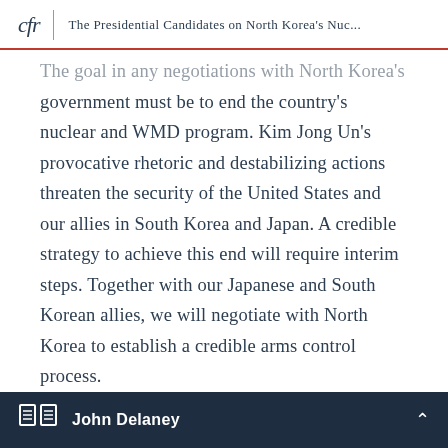cfr | The Presidential Candidates on North Korea's Nuc...
The goal in any negotiations with North Korea's government must be to end the country's nuclear and WMD program. Kim Jong Un's provocative rhetoric and destabilizing actions threaten the security of the United States and our allies in South Korea and Japan. A credible strategy to achieve this end will require interim steps. Together with our Japanese and South Korean allies, we will negotiate with North Korea to establish a credible arms control process.
This process would include a freeze on any further
John Delaney